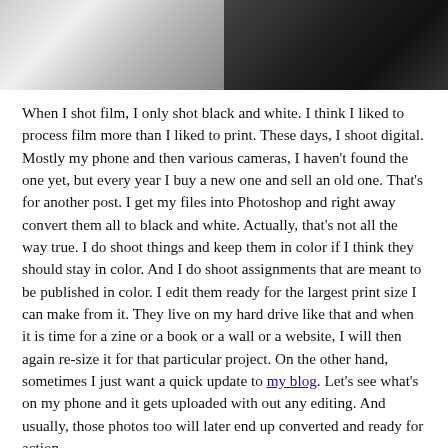[Figure (photo): Black and white photo split into two halves: left side shows a lighter scene, right side shows a darker scene]
When I shot film, I only shot black and white. I think I liked to process film more than I liked to print. These days, I shoot digital. Mostly my phone and then various cameras, I haven't found the one yet, but every year I buy a new one and sell an old one. That's for another post. I get my files into Photoshop and right away convert them all to black and white. Actually, that's not all the way true. I do shoot things and keep them in color if I think they should stay in color. And I do shoot assignments that are meant to be published in color. I edit them ready for the largest print size I can make from it. They live on my hard drive like that and when it is time for a zine or a book or a wall or a website, I will then again re-size it for that particular project. On the other hand, sometimes I just want a quick update to my blog. Let's see what's on my phone and it gets uploaded with out any editing. And usually, those photos too will later end up converted and ready for action.
[Figure (photo): Black and white photo of a store interior with shelves packed with merchandise and a person visible]